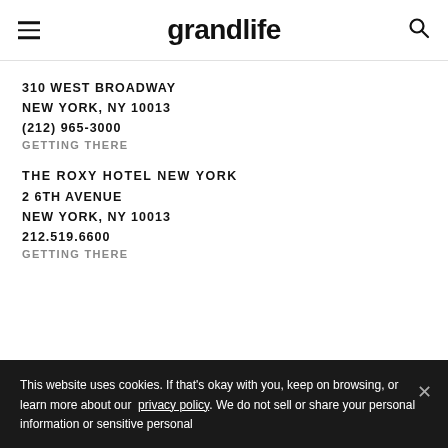grandlife
310 WEST BROADWAY
NEW YORK, NY 10013
(212) 965-3000
GETTING THERE
THE ROXY HOTEL NEW YORK
2 6TH AVENUE
NEW YORK, NY 10013
212.519.6600
GETTING THERE
This website uses cookies. If that's okay with you, keep on browsing, or learn more about our privacy policy. We do not sell or share your personal information or sensitive personal